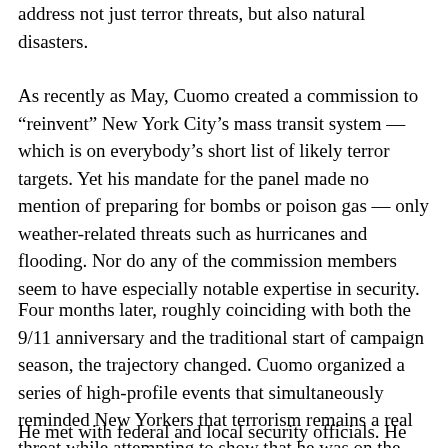address not just terror threats, but also natural disasters.
As recently as May, Cuomo created a commission to “reinvent” New York City’s mass transit system — which is on everybody’s short list of likely terror targets. Yet his mandate for the panel made no mention of preparing for bombs or poison gas — only weather-related threats such as hurricanes and flooding. Nor do any of the commission members seem to have especially notable expertise in security.
Four months later, roughly coinciding with both the 9/11 anniversary and the traditional start of campaign season, the trajectory changed. Cuomo organized a series of high-profile events that simultaneously reminded New Yorkers that terrorism remains a real threat while attempting to show that he was on the job.
He met with federal and local security officials. He announced joint exercises and beefed up